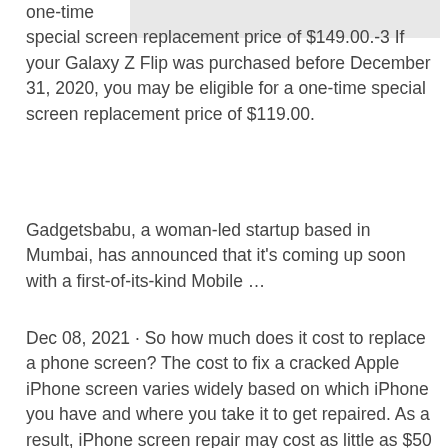one-time special screen replacement price of $149.00.-3 If your Galaxy Z Flip was purchased before December 31, 2020, you may be eligible for a one-time special screen replacement price of $119.00.
Gadgetsbabu, a woman-led startup based in Mumbai, has announced that it's coming up soon with a first-of-its-kind Mobile …
Dec 08, 2021 · So how much does it cost to replace a phone screen? The cost to fix a cracked Apple iPhone screen varies widely based on which iPhone you have and where you take it to get repaired. As a result, iPhone screen repair may cost as little as $50 or as much as 9. samsung galaxy phone screen repair cost is similar, ranging from $50 to $270 depending …